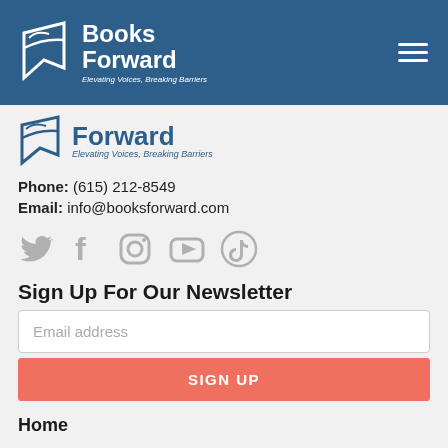[Figure (logo): Books Forward logo with bird/bookmark icon and tagline 'Elevating Voices, Breaking Barriers' on blue header background]
[Figure (logo): Books Forward logo with blue text and tagline 'Elevating Voices, Breaking Barriers', partially visible below header]
Phone: (615) 212-8549
Email: info@booksforward.com
[Figure (infographic): Social media icons: Twitter, Facebook, Instagram, YouTube, TikTok in gray]
Sign Up For Our Newsletter
Email address
SIGN UP
Home